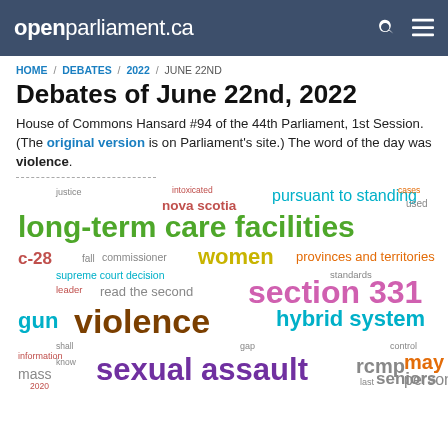openparliament.ca
HOME / DEBATES / 2022 / JUNE 22ND
Debates of June 22nd, 2022
House of Commons Hansard #94 of the 44th Parliament, 1st Session. (The original version is on Parliament's site.) The word of the day was violence.
[Figure (infographic): Word cloud featuring key terms from the June 22nd, 2022 debates, including: long-term care facilities (largest, green), violence (large, dark brown), section 331 (large, magenta), sexual assault (large, purple), extreme intoxication defence (large, teal), hybrid system (large, teal), pursuant to standing (medium, cyan), women (medium, yellow-green), provinces and territories (medium, pink), rcmp, seniors, gun, c-28, nova scotia, and many others in various colors and sizes.]